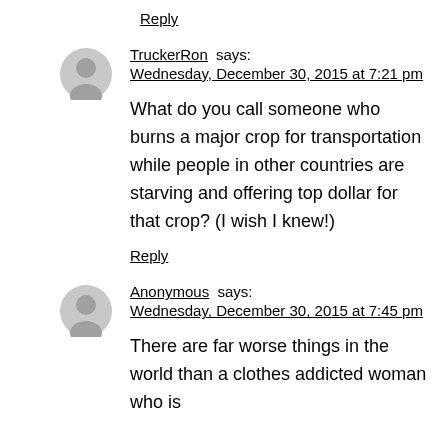Reply
TruckerRon says:
Wednesday, December 30, 2015 at 7:21 pm
What do you call someone who burns a major crop for transportation while people in other countries are starving and offering top dollar for that crop? (I wish I knew!)
Reply
Anonymous says:
Wednesday, December 30, 2015 at 7:45 pm
There are far worse things in the world than a clothes addicted woman who is